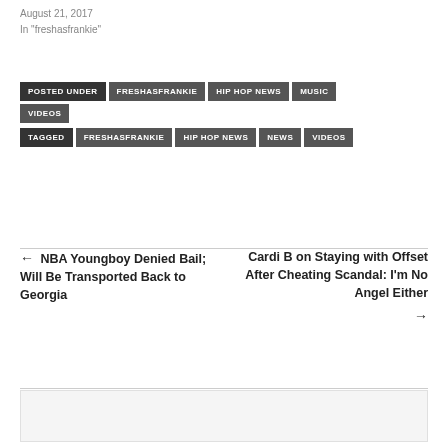August 21, 2017
In "freshasfrankie"
POSTED UNDER | FRESHASFRANKIE | HIP HOP NEWS | MUSIC | VIDEOS
TAGGED | FRESHASFRANKIE | HIP HOP NEWS | NEWS | VIDEOS
← NBA Youngboy Denied Bail; Will Be Transported Back to Georgia
Cardi B on Staying with Offset After Cheating Scandal: I'm No Angel Either →